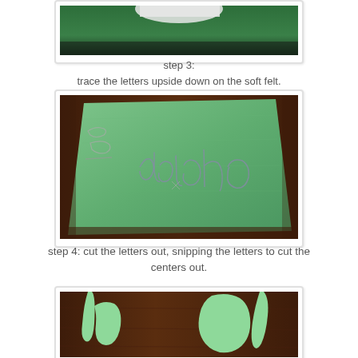[Figure (photo): Partial photo at top showing green felt on a dark surface, cropped at top of page]
step 3:
trace the letters upside down on the soft felt.
[Figure (photo): Photo of green felt with cursive letters traced on it in pencil, reading upside down on the felt]
step 4: cut the letters out, snipping the letters to cut the centers out.
[Figure (photo): Partial photo at bottom showing cut out green felt letters on dark wood surface]